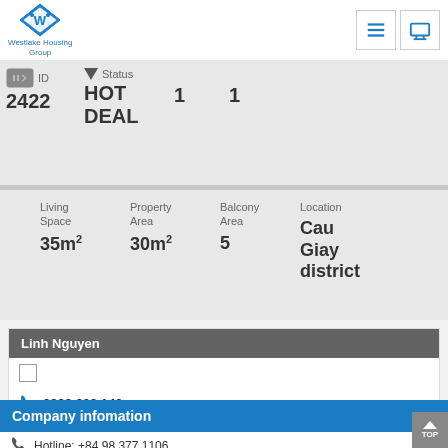[Figure (logo): Westlake Housing Group logo - blue diamond with W, text below]
ID 2422
Status HOT DEAL
1
1
Living Space 35m²
Property Area 30m²
Balcony Area 5
Location Cau Giay district
Linh Nguyen
0988 602 143
linhnguyen@westlakehousing.vn
Company infomation
Hotline: +84 98 377 1106
info@westlakehousing.vn